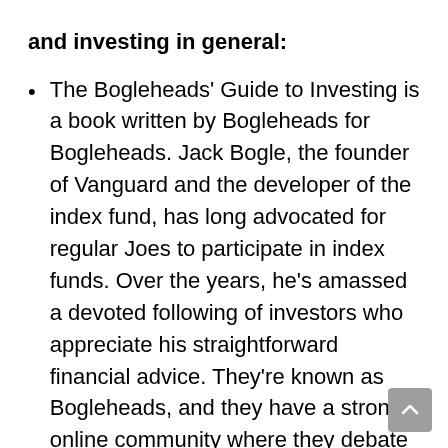and investing in general:
The Bogleheads' Guide to Investing is a book written by Bogleheads for Bogleheads. Jack Bogle, the founder of Vanguard and the developer of the index fund, has long advocated for regular Joes to participate in index funds. Over the years, he's amassed a devoted following of investors who appreciate his straightforward financial advice. They're known as Bogleheads, and they have a strong online community where they debate Bogle's